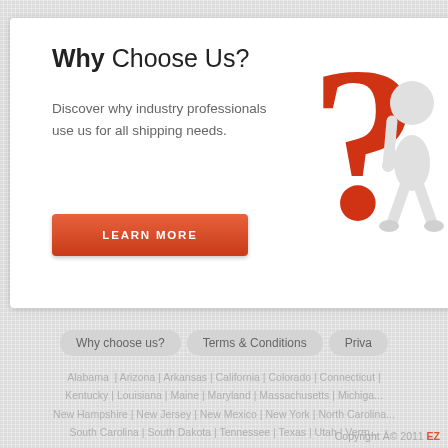Why Choose Us?
Discover why industry professionals use us for all shipping needs.
LEARN MORE
[Figure (illustration): 3D illustration of a white humanoid figure leaning on a large red question mark]
Nationwide Shi...
Fully Insured & Bonded. Door To Door Vehicle Delivery.
VIEW DETAILS
Why choose us?
Terms & Conditions
Priva...
Alabama | Arizona | Arkansas | California | Colorado | Connecticut |
Kentucky | Louisiana | Maine | Maryland | Massachusetts | Michigan...
New Hampshire | New Jersey | New Mexico | New York | North Carolina...
South Carolina | South Dakota | Tennessee | Texas | Utah | Verm...
Copyright © 2011 EZ... Web Development...